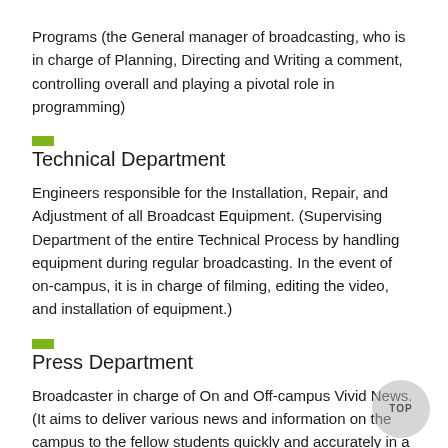Programs (the General manager of broadcasting, who is in charge of Planning, Directing and Writing a comment, controlling overall and playing a pivotal role in programming)
Technical Department
Engineers responsible for the Installation, Repair, and Adjustment of all Broadcast Equipment. (Supervising Department of the entire Technical Process by handling equipment during regular broadcasting. In the event of on-campus, it is in charge of filming, editing the video, and installation of equipment.)
Press Department
Broadcaster in charge of On and Off-campus Vivid News. (It aims to deliver various news and information on the campus to the fellow students quickly and accurately in a neutral position.